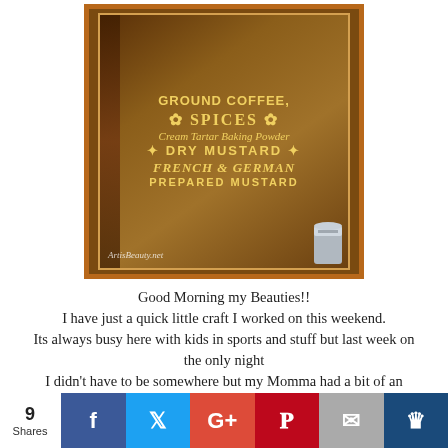[Figure (photo): A rustic wooden sign with vintage typography listing: Ground Coffee, Spices, Cream Tartar Baking Powder, Dry Mustard, French & German Prepared Mustard. Watermark reads ArtisBeauty.net. A silver canister is visible on the right side.]
Good Morning my Beauties!!
I have just a quick little craft I worked on this weekend.
Its always busy here with kids in sports and stuff but last week on the only night
I didn't have to be somewhere but my Momma had a bit of an accident and fell. Fortunatly she didn't hit her head and after calling me I went over to check on her and decided
I had to take her to the ER. That meant I  ended up having something EVERY SINGLE NIGHT...:)
9 Shares | Facebook | Twitter | Google+ | Pinterest | Email | Crown